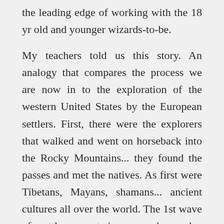the leading edge of working with the 18 yr old and younger wizards-to-be.
My teachers told us this story. An analogy that compares the process we are now in to the exploration of the western United States by the European settlers. First, there were the explorers that walked and went on horseback into the Rocky Mountains... they found the passes and met the natives. As first were Tibetans, Mayans, shamans... ancient cultures all over the world. The 1st wave of settlers went in covered wooden wagons drawn by oxen over road-less landscapes. This was my group, in the '80's and 90's. It was a long hard journey and it hurt to watch a lot of us not make it. Our